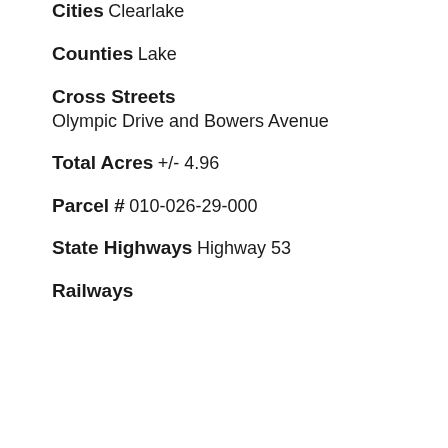Cities
Clearlake
Counties
Lake
Cross Streets
Olympic Drive and Bowers Avenue
Total Acres
+/- 4.96
Parcel #
010-026-29-000
State Highways
Highway 53
Railways